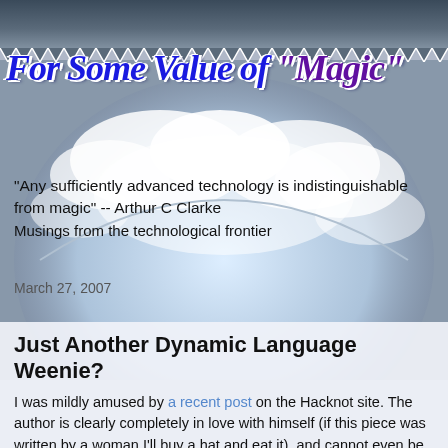For Some Value of "Magic"
"Any sufficiently advanced technology is indistinguishable from magic" -- Arthur C Clarke
Musings from the technological frontier
March 27, 2007
Just Another Dynamic Language Weenie?
I was mildly amused by a recent post on the Hacknot site. The author is clearly completely in love with himself (if this piece was written by a woman I'll buy a hat and eat it), and cannot even be bothered to get Stephan Diebel's name right. I really don't see the point of trying to put dynamic languages down - they exist, and those who don't want to use them don't have to. This is yet another boring case of some idiot fighting a religious war of their own imagining, and